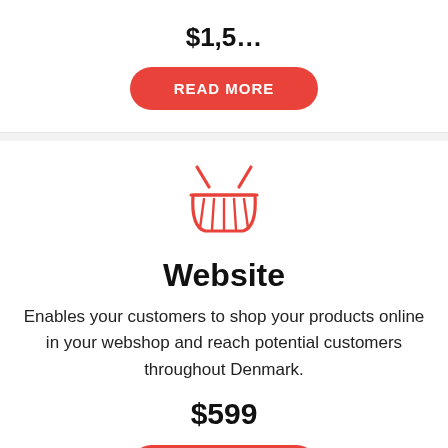$1,5..
READ MORE
[Figure (illustration): Shopping basket icon in red outline style]
Website
Enables your customers to shop your products online in your webshop and reach potential customers throughout Denmark.
$599
READ MORE